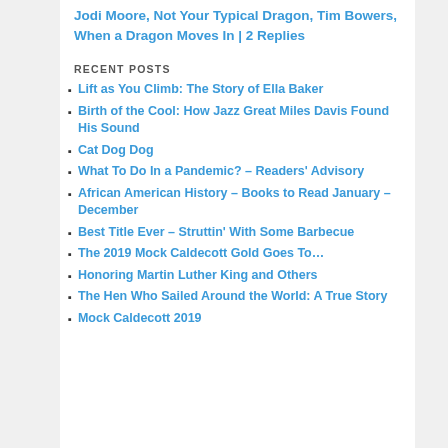Jodi Moore, Not Your Typical Dragon, Tim Bowers, When a Dragon Moves In | 2 Replies
RECENT POSTS
Lift as You Climb: The Story of Ella Baker
Birth of the Cool: How Jazz Great Miles Davis Found His Sound
Cat Dog Dog
What To Do In a Pandemic? – Readers' Advisory
African American History – Books to Read January – December
Best Title Ever – Struttin' With Some Barbecue
The 2019 Mock Caldecott Gold Goes To…
Honoring Martin Luther King and Others
The Hen Who Sailed Around the World: A True Story
Mock Caldecott 2019